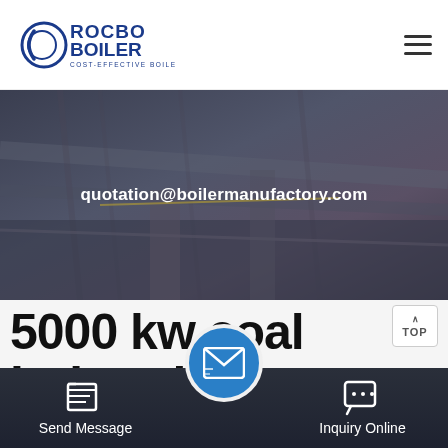[Figure (logo): Rocbo Boiler logo with circular C icon and text 'ROCBO BOILER COST-EFFECTIVE BOILER SUPPLIER']
[Figure (photo): Dark industrial banner image showing boiler equipment with email overlay]
quotation@boilermanufactory.com
5000 kw coal industrial
[Figure (photo): Industrial boiler equipment photo strip]
Send Message
Inquiry Online